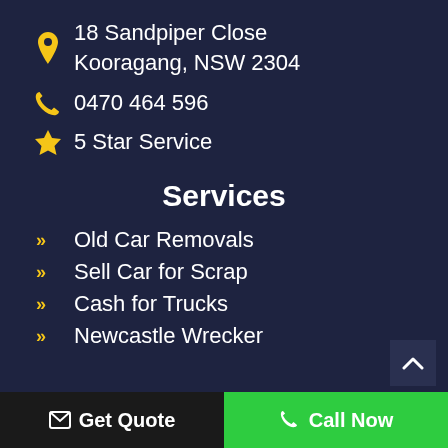18 Sandpiper Close Kooragang, NSW 2304
0470 464 596
5 Star Service
Services
Old Car Removals
Sell Car for Scrap
Cash for Trucks
Newcastle Wrecker
Get Quote  Call Now